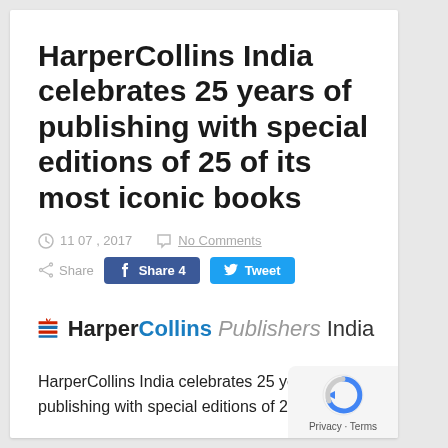HarperCollins India celebrates 25 years of publishing with special editions of 25 of its most iconic books
11 07 , 2017   No Comments
Share  Share 4  Tweet
[Figure (logo): HarperCollins Publishers India logo with torch/flame icon, 'Harper' in dark, 'Collins' in blue, 'Publishers' in italic gray, 'India' in regular dark text]
HarperCollins India celebrates 25 years of publishing with special editions of 25 of its